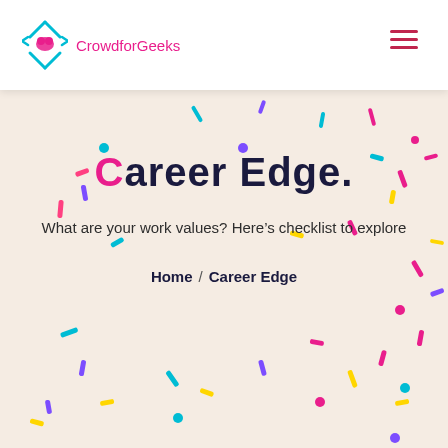[Figure (logo): CrowdforGeeks logo with teal diamond/arrow icon and pink text]
Career Edge.
What are your work values? Here's checklist to explore
Home / Career Edge
[Figure (illustration): Colorful confetti scattered across a warm beige background]